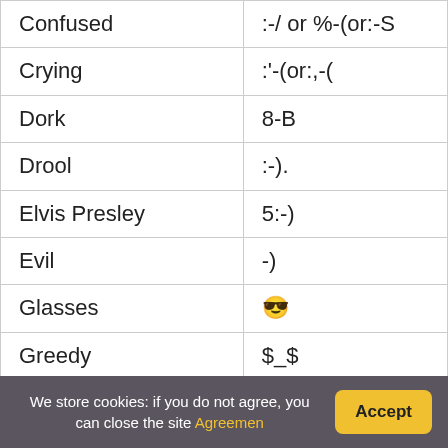| Emotion | Emoticon |
| --- | --- |
| Confused | :-/ or %-(or:-S |
| Crying | :'-(or:,-( |
| Dork | 8-B |
| Drool | :-). |
| Elvis Presley | 5:-) |
| Evil | -) |
| Glasses | 😎 |
| Greedy | $_$ |
| Happy | 🙂 or:) |
We store cookies: if you do not agree, you can close the site Agreemen